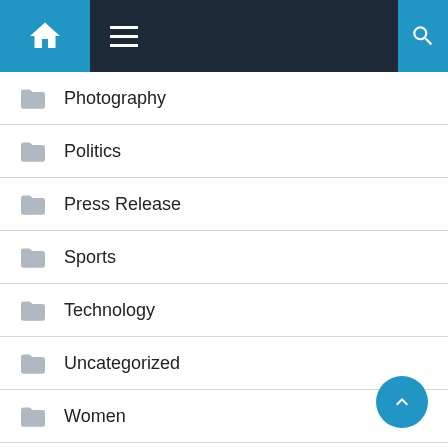Navigation bar with home, menu, and search icons
Photography
Politics
Press Release
Sports
Technology
Uncategorized
Women
World
एजुकेशन